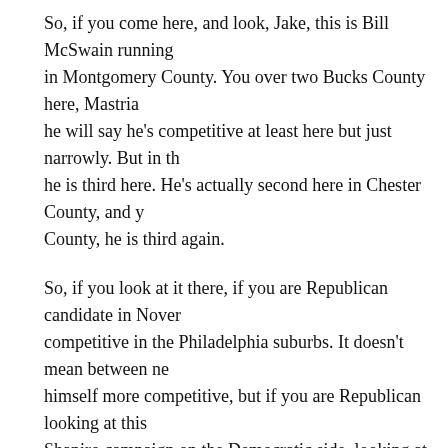So, if you come here, and look, Jake, this is Bill McSwain running in Montgomery County. You over two Bucks County here, Mastriano he will say he's competitive at least here but just narrowly. But in th he is third here. He's actually second here in Chester County, and y County, he is third again.
So, if you look at it there, if you are Republican candidate in Nove competitive in the Philadelphia suburbs. It doesn't mean between n himself more competitive, but if you are Republican looking at this Shapiro campaign on the Democratic side, looking at this map toni percent at the state population lives right here in this southeastern q
Doug Mastriano, as of tonight is very weak in that part of the state. which is why a lot of Republicans think that in terms of the governo go in from here. TAPPER: Yes. Although as we've discussed earlier
of Mastriano...